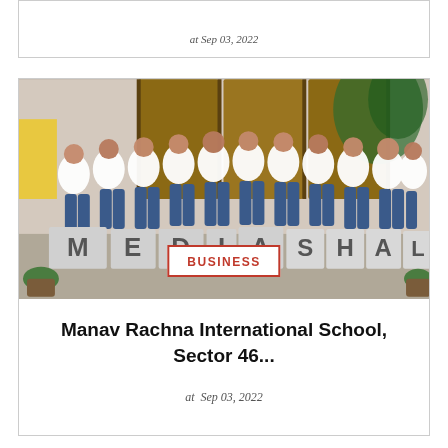at Sep 03, 2022
[Figure (photo): Group of students in white t-shirts and jeans posing in front of large letter block signs spelling MEDIA SHALA in an indoor event space]
BUSINESS
Manav Rachna International School, Sector 46...
at Sep 03, 2022